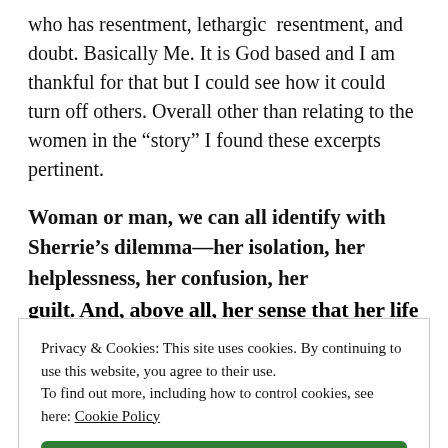who has resentment, lethargic resentment, and doubt. Basically Me. It is God based and I am thankful for that but I could see how it could turn off others. Overall other than relating to the women in the “story” I found these excerpts pertinent.
Woman or man, we can all identify with Sherrie’s dilemma—her isolation, her helplessness, her confusion, her guilt. And, above all, her sense that her life is out of
Privacy & Cookies: This site uses cookies. By continuing to use this website, you agree to their use.
To find out more, including how to control cookies, see here: Cookie Policy
Close and accept